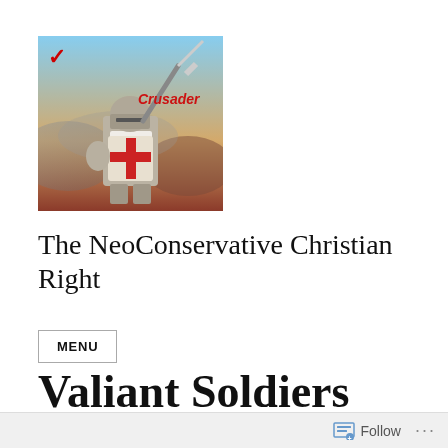[Figure (photo): A medieval crusader knight in armor holding a sword aloft, with a shield bearing a red cross. Text 'Crusader' in red italic appears on the image. A red checkmark is visible in the upper left corner.]
The NeoConservative Christian Right
MENU
Valiant Soldiers
Follow